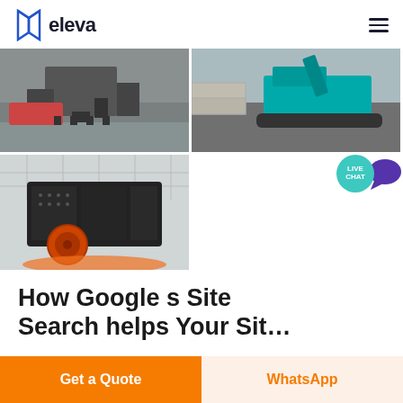[Figure (logo): Eleva logo with book-like blue icon and bold dark text 'eleva']
[Figure (photo): Three industrial/construction machinery photos: top-left shows heavy equipment on factory floor, top-right shows teal/green crawler machine near concrete blocks, bottom-left shows large black impact crusher in warehouse]
[Figure (infographic): Live Chat teal circle badge with purple speech bubble icon]
How Google s Site Search helps Your Sit…